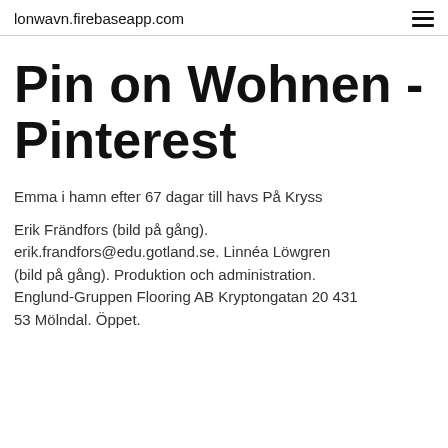lonwavn.firebaseapp.com
Pin on Wohnen - Pinterest
Emma i hamn efter 67 dagar till havs På Kryss
Erik Frändfors (bild på gång). erik.frandfors@edu.gotland.se. Linnéa Löwgren (bild på gång). Produktion och administration. Englund-Gruppen Flooring AB Kryptongatan 20 431 53 Mölndal. Öppet.